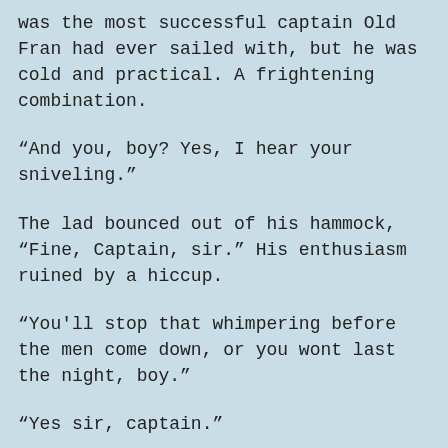was the most successful captain Old Fran had ever sailed with, but he was cold and practical. A frightening combination.
“And you, boy? Yes, I hear your sniveling.”
The lad bounced out of his hammock, “Fine, Captain, sir.” His enthusiasm ruined by a hiccup.
“You'll stop that whimpering before the men come down, or you wont last the night, boy.”
“Yes sir, captain.”
“Good.  It ain’t an easy life, but it’s a fair one.  You worked hard today and you didn’t falter.  You earned your share of the catch.  You be proud boy,